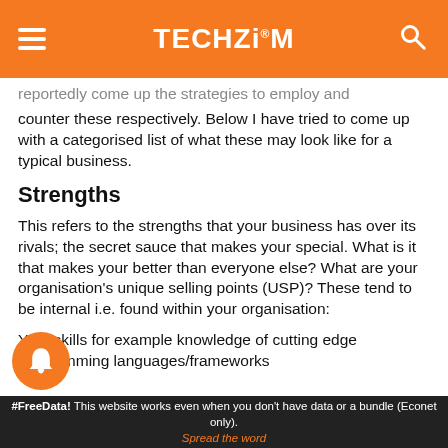TECHZiM
...reportedly come up the strategies to employ and counter these respectively. Below I have tried to come up with a categorised list of what these may look like for a typical business.
Strengths
This refers to the strengths that your business has over its rivals; the secret sauce that makes your special. What is it that makes your better than everyone else? What are your organisation’s unique selling points (USP)? These tend to be internal i.e. found within your organisation:
Your skills for example knowledge of cutting edge programming languages/frameworks
#FreeData! This website works even when you don't have data or a bundle (Econet only).    Spread the word